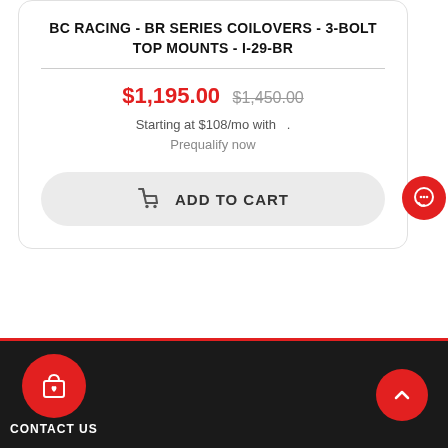BC RACING - BR SERIES COILOVERS - 3-BOLT TOP MOUNTS - I-29-BR
$1,195.00  $1,450.00
Starting at $108/mo with
Prequalify now
ADD TO CART
CONTACT US